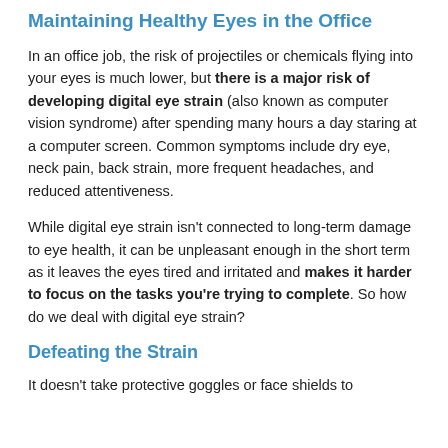Maintaining Healthy Eyes in the Office
In an office job, the risk of projectiles or chemicals flying into your eyes is much lower, but there is a major risk of developing digital eye strain (also known as computer vision syndrome) after spending many hours a day staring at a computer screen. Common symptoms include dry eye, neck pain, back strain, more frequent headaches, and reduced attentiveness.
While digital eye strain isn’t connected to long-term damage to eye health, it can be unpleasant enough in the short term as it leaves the eyes tired and irritated and makes it harder to focus on the tasks you’re trying to complete. So how do we deal with digital eye strain?
Defeating the Strain
It doesn’t take protective goggles or face shields to